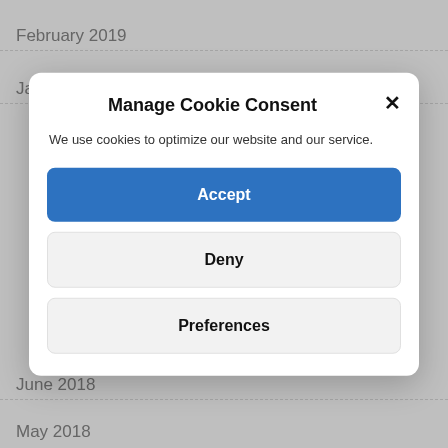February 2019
January 2019
Manage Cookie Consent
We use cookies to optimize our website and our service.
Accept
Deny
Preferences
June 2018
May 2018